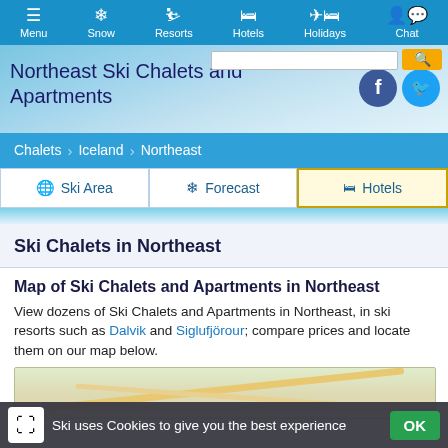Menu  Snow  Resorts  Hotels  Holidays  Chat
Northeast Ski Chalets and Apartments
Chalets > Iceland > Northeast
Ski Area  Forecast  Hotels
Ski Chalets in Northeast
Map of Ski Chalets and Apartments in Northeast
View dozens of Ski Chalets and Apartments in Northeast, in ski resorts such as Dalvik and Siglufjörour; compare prices and locate them on our map below.
[Figure (map): Map preview showing Northeast Iceland area with roads]
Ski uses Cookies to give you the best experience  OK